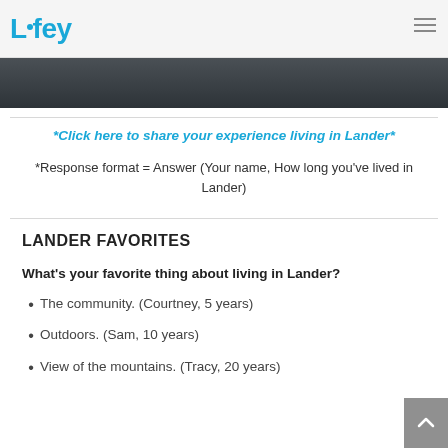Lifey
[Figure (photo): Dark grey/blue textured wood or slate banner image]
*Click here to share your experience living in Lander*
*Response format = Answer (Your name, How long you've lived in Lander)
LANDER FAVORITES
What's your favorite thing about living in Lander?
The community. (Courtney, 5 years)
Outdoors. (Sam, 10 years)
View of the mountains. (Tracy, 20 years)